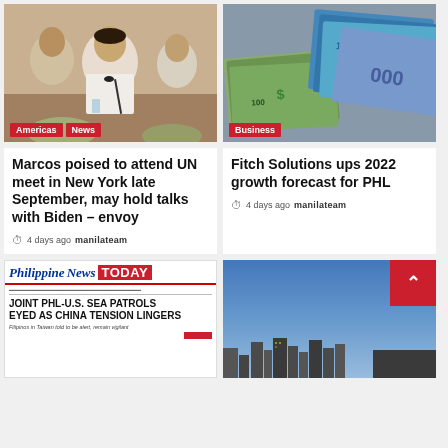[Figure (photo): Man in white shirt at a meeting table with microphone, other people seated around]
[Figure (photo): Philippine pesos and US dollar banknotes stacked together]
Marcos poised to attend UN meet in New York late September, may hold talks with Biden – envoy
4 days ago  manilateam
Fitch Solutions ups 2022 growth forecast for PHL
4 days ago  manilateam
[Figure (photo): Philippine News Today newspaper front page with headline: JOINT PHL-U.S. SEA PATROLS EYED AS CHINA TENSION LINGERS, subheadline: Filipinos in Taiwan told to be alert, remain vigilant]
[Figure (photo): Blue sky background with building silhouettes at bottom, red back-to-top button overlay]